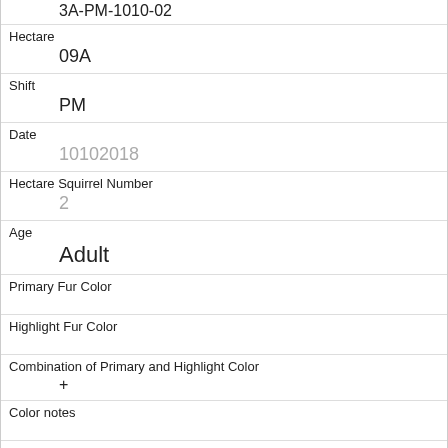| 3A-PM-1010-02 |
| Hectare | 09A |
| Shift | PM |
| Date | 10102018 |
| Hectare Squirrel Number | 2 |
| Age | Adult |
| Primary Fur Color |  |
| Highlight Fur Color |  |
| Combination of Primary and Highlight Color | + |
| Color notes |  |
| Location | Ground Plane |